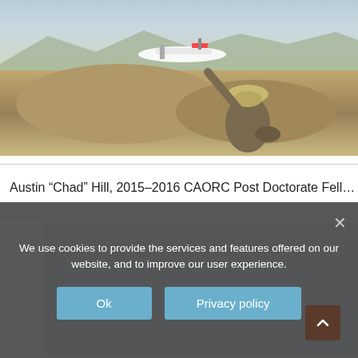[Figure (photo): A person wearing a hat and plaid shirt holding up a fixed-wing drone/UAV in a desert landscape with mountains in the background.]
Austin “Chad” Hill, 2015–2016 CAORC Post Doctorate Fell…
[Figure (photo): Partially visible second photo with light blue/sky background, cropped by cookie banner.]
We use cookies to provide the services and features offered on our website, and to improve our user experience.
Ok
Privacy policy